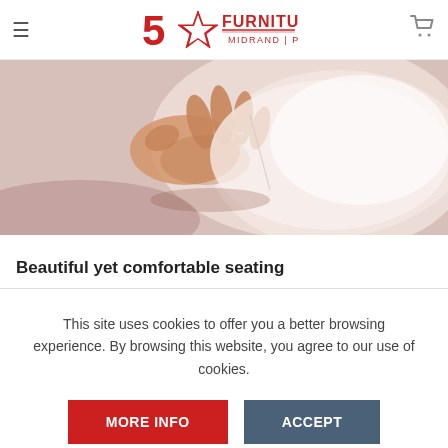5 Star Furniture - Midrand | Pretoria
[Figure (photo): Close-up photo of a hand touching or adjusting white upholstery fabric with a needle, suggesting furniture craftsmanship or sewing.]
Beautiful yet comfortable seating
This site uses cookies to offer you a better browsing experience. By browsing this website, you agree to our use of cookies.
MORE INFO
ACCEPT